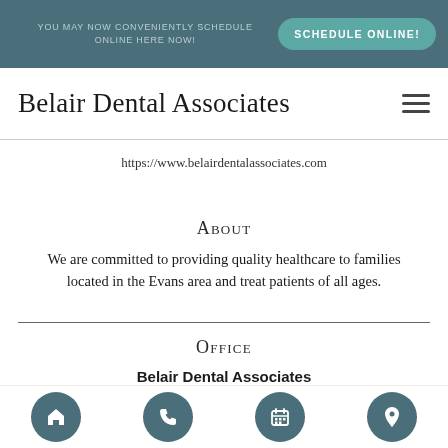YOU MAY NOW CONVENIENTLY SCHEDULE ONLINE HERE NOW!  SCHEDULE ONLINE!
Belair Dental Associates
https://www.belairdentalassociates.com
About
We are committed to providing quality healthcare to families located in the Evans area and treat patients of all ages.
Office
Belair Dental Associates
345 North Belair Road
Home  Phone  Calendar  Location